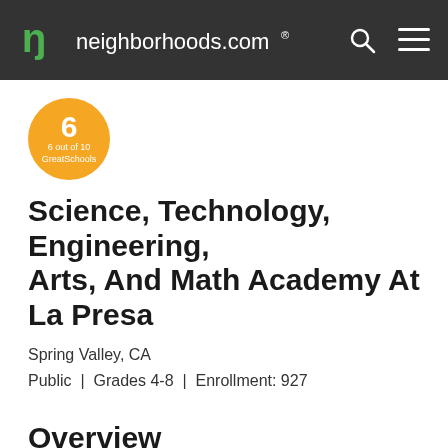neighborhoods.com
[Figure (other): Score badge showing 6 out of 10 GreatSchools rating in orange circle]
Science, Technology, Engineering, Arts, And Math Academy At La Presa
Spring Valley, CA
Public | Grades 4-8 | Enrollment: 927
Overview
Science, Technology, Engineering, Arts, And Math Academy At La Presa